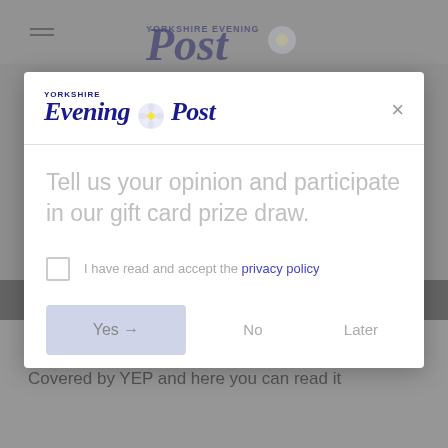[Figure (screenshot): Yorkshire Evening Post website screenshot showing a survey/newsletter modal popup dialog over a partially visible article page. The modal contains the Yorkshire Evening Post logo, a prompt to participate in a gift card prize draw, a privacy policy checkbox, and Yes/No/Later buttons.]
Tell us your opinion and participate in our gift card prize draw.
I have read and accept the privacy policy
Yes
No
Later
Kick-off: Today, 8pm.
Covered by YEP and here you can read it